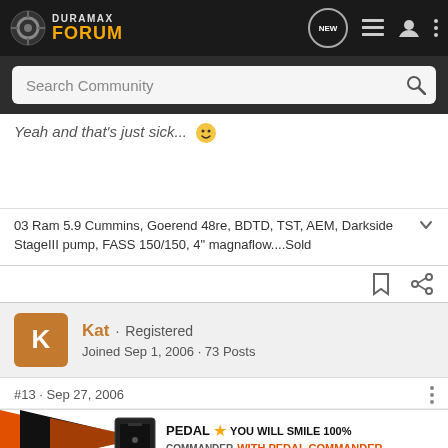Duramax Forum — NEW
Search Community
Yeah and that's just sick...
03 Ram 5.9 Cummins, Goerend 48re, BDTD, TST, AEM, Darkside StageIII pump, FASS 150/150, 4" magnaflow....Sold
Kat · Registered
Joined Sep 1, 2006 · 73 Posts
#13 · Sep 27, 2006
[Figure (screenshot): Pedal Commander advertisement banner: orange/black graphic with text YOU WILL SMILE 100% WITH PEDAL COMMANDER]